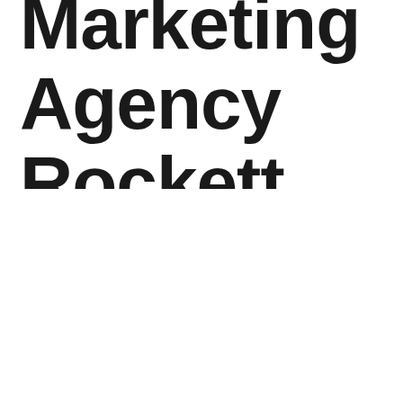Digital Marketing Agency Rockett Interactive
We use cookies to personalise content, to provide social media features and to analyse our traffic. We also share information about your use of our site with our social media, advertising and analytics partners. You can change your cookies settings, please see our cookie policy here . Otherwise, if you agree to our use of cookies, please continue to use our website.
Accept